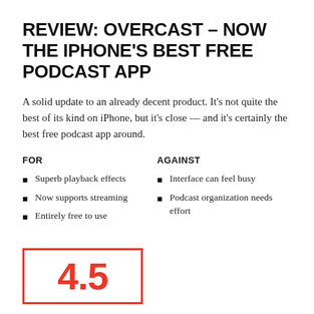REVIEW: OVERCAST – NOW THE IPHONE'S BEST FREE PODCAST APP
A solid update to an already decent product. It's not quite the best of its kind on iPhone, but it's close — and it's certainly the best free podcast app around.
FOR
Superb playback effects
Now supports streaming
Entirely free to use
AGAINST
Interface can feel busy
Podcast organization needs effort
[Figure (other): Score box with red border showing rating 4.5 in large red numerals]